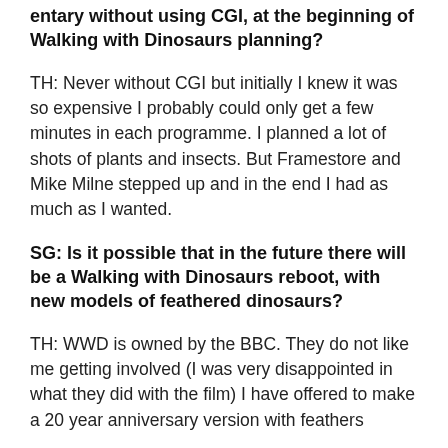entary without using CGI, at the beginning of Walking with Dinosaurs planning?
TH: Never without CGI but initially I knew it was so expensive I probably could only get a few minutes in each programme. I planned a lot of shots of plants and insects. But Framestore and Mike Milne stepped up and in the end I had as much as I wanted.
SG: Is it possible that in the future there will be a Walking with Dinosaurs reboot, with new models of feathered dinosaurs?
TH: WWD is owned by the BBC. They do not like me getting involved (I was very disappointed in what they did with the film) I have offered to make a 20 year anniversary version with feathers